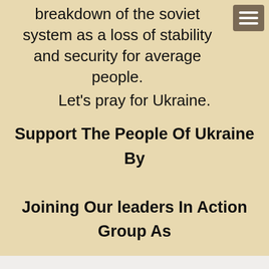breakdown of the soviet system as a loss of stability and security for average people. Let's pray for Ukraine.
Support The People Of Ukraine By Joining Our leaders In Action Group As We Learn To Face Tomorrow With New Found Faith. Your Support Is Greatly Appreciated.